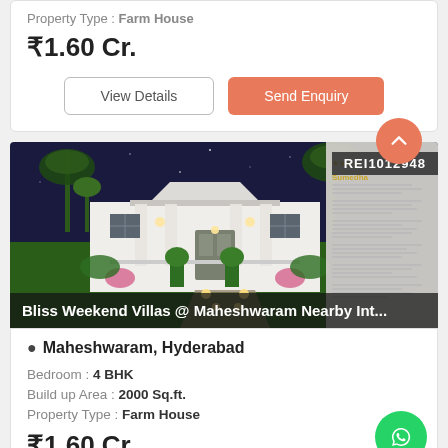Property Type : Farm House
₹1.60 Cr.
View Details
Send Enquiry
[Figure (photo): Night-time exterior render of a white colonial-style farmhouse with lit columns, garden path, and palm trees. Badge: REI1012948. Title overlay: Bliss Weekend Villas @ Maheshwaram Nearby Int...]
Maheshwaram, Hyderabad
Bedroom : 4 BHK
Build up Area : 2000 Sq.ft.
Property Type : Farm House
₹1.60 Cr.